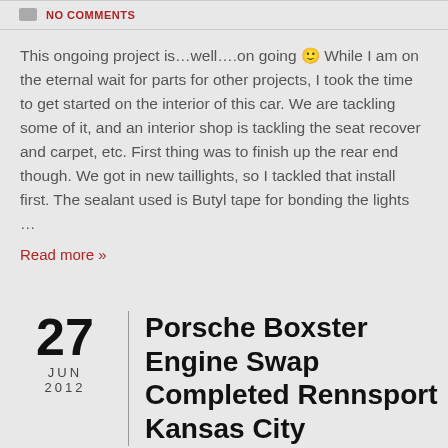NO COMMENTS
This ongoing project is…well….on going 🙂 While I am on the eternal wait for parts for other projects, I took the time to get started on the interior of this car. We are tackling some of it, and an interior shop is tackling the seat recover and carpet, etc. First thing was to finish up the rear end though. We got in new taillights, so I tackled that install first. The sealant used is Butyl tape for bonding the lights …
Read more »
Porsche Boxster Engine Swap Completed Rennsport Kansas City
JUN 27 2012  PORSCHEDOC  BOXSTER  NO COMMENTS